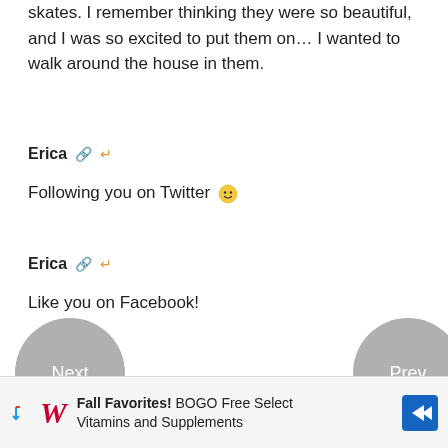skates. I remember thinking they were so beautiful, and I was so excited to put them on… I wanted to walk around the house in them.
Erica 🔗 ↩
Following you on Twitter 🙂
Erica 🔗 ↩
Like you on Facebook!
Erica 🔗 ↩
[Figure (screenshot): Navigation buttons: Next (left) and Prev (right), gray circles]
[Figure (other): Close button X]
Fall Favorites! BOGO Free Select Vitamins and Supplements